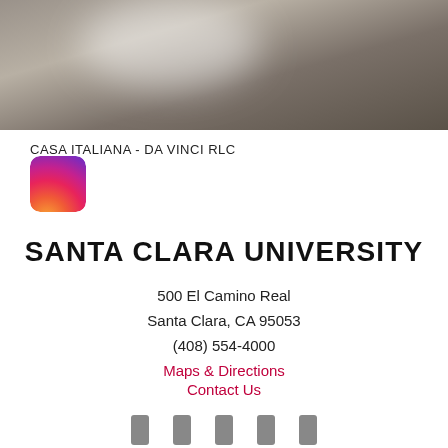[Figure (photo): Blurred/hazy indoor photo banner of Casa Italiana - Da Vinci RLC]
CASA ITALIANA - DA VINCI RLC
[Figure (logo): Instagram gradient logo icon (purple-pink-orange gradient square with rounded corners)]
SANTA CLARA UNIVERSITY
500 El Camino Real
Santa Clara, CA 95053
(408) 554-4000
Maps & Directions
Contact Us
[Figure (infographic): Row of five social media icons (Facebook, Twitter, Instagram, LinkedIn, YouTube style rectangles)]